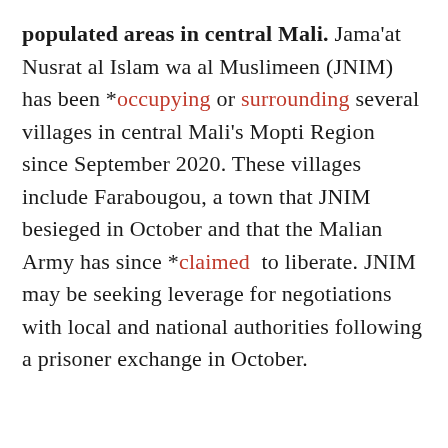populated areas in central Mali. Jama'at Nusrat al Islam wa al Muslimeen (JNIM) has been *occupying or surrounding several villages in central Mali's Mopti Region since September 2020. These villages include Farabougou, a town that JNIM besieged in October and that the Malian Army has since *claimed to liberate. JNIM may be seeking leverage for negotiations with local and national authorities following a prisoner exchange in October.